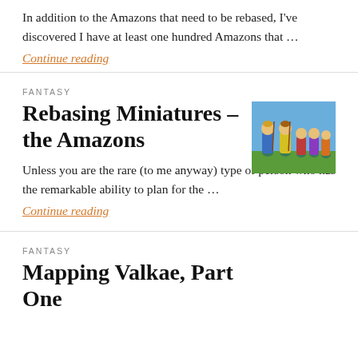In addition to the Amazons that need to be rebased, I've discovered I have at least one hundred Amazons that …
Continue reading
FANTASY
Rebasing Miniatures – the Amazons
[Figure (photo): Photo of painted miniature Amazon warrior figures on bases, outdoors background]
Unless you are the rare (to me anyway) type of person who has the remarkable ability to plan for the …
Continue reading
FANTASY
Mapping Valkae, Part One
[Figure (map): Partial map image showing a landmass outline]